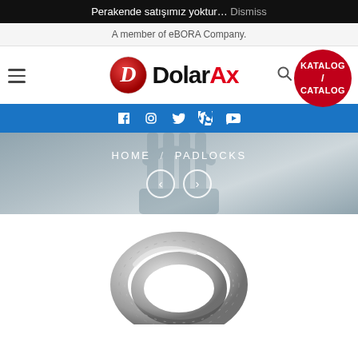Perakende satışımız yoktur… Dismiss
A member of eBORA Company.
[Figure (logo): DolarAx logo with red circular D icon and black/red text]
[Figure (infographic): KATALOG / CATALOG red circular badge]
[Figure (infographic): Social media icons bar: Facebook, Instagram, Twitter, Pinterest, YouTube on blue background]
[Figure (screenshot): Hero banner with padlock background image, breadcrumb HOME / PADLOCKS, and navigation arrows]
[Figure (photo): Close-up product photo of a silver/chrome padlock shackle at the bottom of the page]